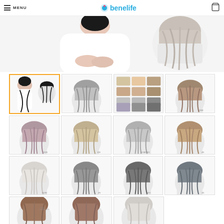MENU | benelife [logo] [cart icon]
[Figure (photo): Hero image showing a woman in white dress holding hair bangs extension product, with a close-up detail of the hair piece on the right side]
[Figure (photo): Grid of hair bang extension product thumbnails. Row 1: selected dark hair with woman, silver-gray bang, multi-color swatch grid, light brown bang. Row 2: mauve/pink-tinted bang (2339), light blonde bang (108), ash gray bang (60 MIXED), tan brown bang (4N). Row 3: white/platinum bang (613N), medium gray bang (4N), dark gray bang (32V), dark gray bang (1N). Row 4 partial: brown bang, brown-red bang, platinum/ash bang.]
Product thumbnail gallery for hair bang extensions in various colors